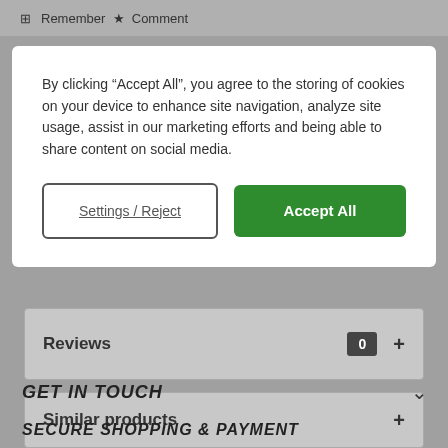Remember ★ Comment
By clicking "Accept All", you agree to the storing of cookies on your device to enhance site navigation, analyze site usage, assist in our marketing efforts and being able to share content on social media.
Settings / Reject
Accept All
Reviews 0 +
Similar products +
GET IN TOUCH
SECURE SHOPPING & PAYMENT